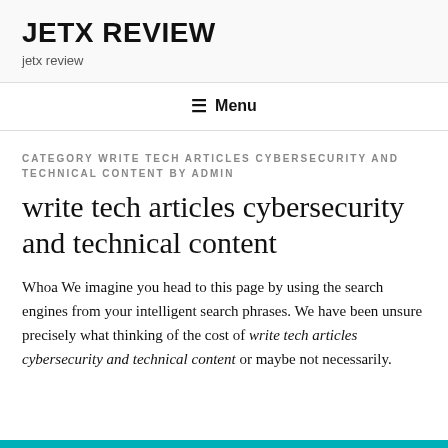JETX REVIEW
jetx review
Menu
CATEGORY WRITE TECH ARTICLES CYBERSECURITY AND TECHNICAL CONTENT BY ADMIN
write tech articles cybersecurity and technical content
Whoa We imagine you head to this page by using the search engines from your intelligent search phrases. We have been unsure precisely what thinking of the cost of write tech articles cybersecurity and technical content or maybe not necessarily.